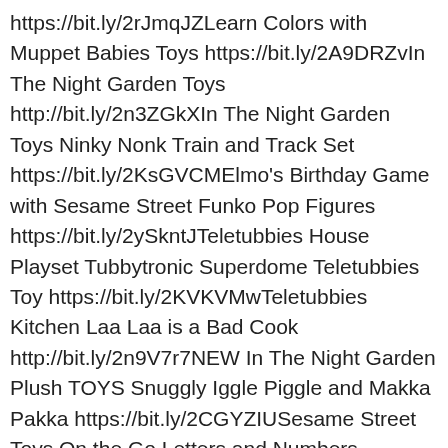https://bit.ly/2rJmqJZLearn Colors with Muppet Babies Toys https://bit.ly/2A9DRZvIn The Night Garden Toys http://bit.ly/2n3ZGkXIn The Night Garden Toys Ninky Nonk Train and Track Set https://bit.ly/2KsGVCMElmo's Birthday Game with Sesame Street Funko Pop Figures https://bit.ly/2ySkntJTeletubbies House Playset Tubbytronic Superdome Teletubbies Toy https://bit.ly/2KVKVMwTeletubbies Kitchen Laa Laa is a Bad Cook http://bit.ly/2n9V7r7NEW In The Night Garden Plush TOYS Snuggly Iggle Piggle and Makka Pakka https://bit.ly/2CGYZIUSesame Street Toys On the Go Letters and Numbers https://bit.ly/2jSHnyxLaa Laa is a Bad Cook Making Tubby Toast Teletubbies Kitchen https://bit.ly/2lfh5B7 Surprise and Play is a family-friendly YouTube channel for kids and toy collectors. The Toycracker -